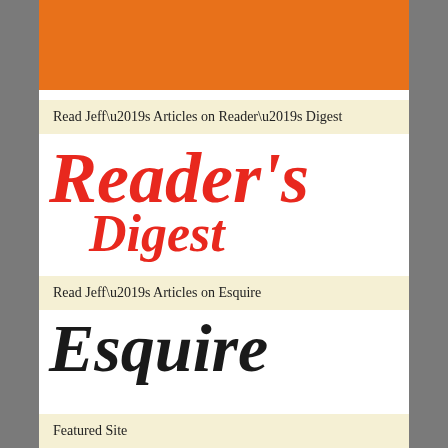[Figure (illustration): Orange rectangular block at top of page]
Read Jeff’s Articles on Reader’s Digest
[Figure (logo): Reader's Digest logo in red serif bold italic text, two lines: 'Reader's' and 'Digest']
Read Jeff’s Articles on Esquire
[Figure (logo): Esquire logo in large black cursive/script typeface]
Featured Site